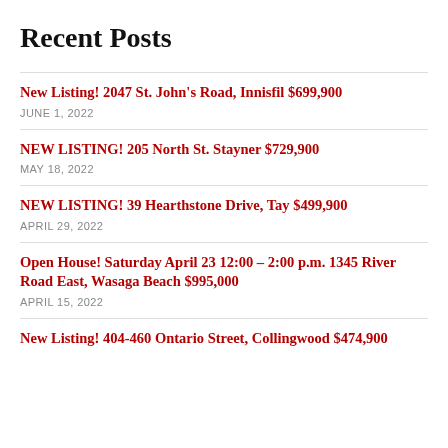Recent Posts
New Listing! 2047 St. John’s Road, Innisfil $699,900
JUNE 1, 2022
NEW LISTING! 205 North St. Stayner $729,900
MAY 18, 2022
NEW LISTING! 39 Hearthstone Drive, Tay $499,900
APRIL 29, 2022
Open House! Saturday April 23 12:00 – 2:00 p.m. 1345 River Road East, Wasaga Beach $995,000
APRIL 15, 2022
New Listing! 404-460 Ontario Street, Collingwood $474,900